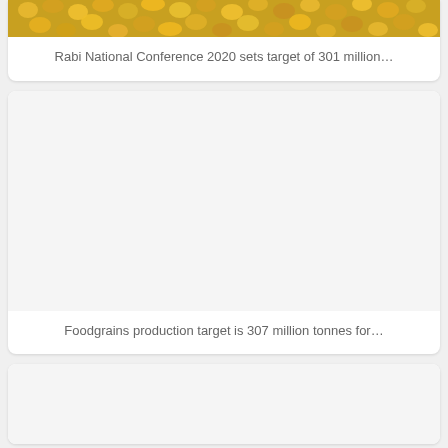[Figure (photo): Close-up photo of yellow corn/maize kernels (partially visible, cropped at top)]
Rabi National Conference 2020 sets target of 301 million…
[Figure (photo): Blank/white image placeholder for article card]
Foodgrains production target is 307 million tonnes for…
[Figure (photo): Blank/white image placeholder for third article card (partially visible)]